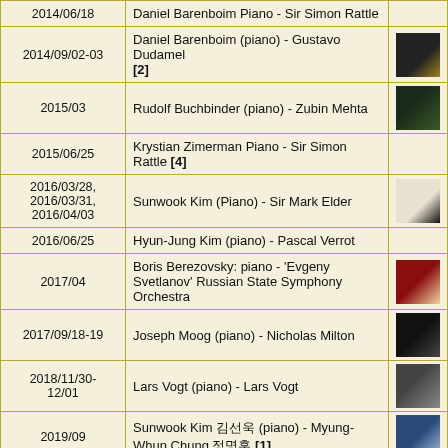| Date | Description | Image |
| --- | --- | --- |
| 2014/06/18 | Daniel Barenboim Piano - Sir Simon Rattle |  |
| 2014/09/02-03 | Daniel Barenboim (piano) - Gustavo Dudamel [2] | [img] |
| 2015/03 | Rudolf Buchbinder (piano) - Zubin Mehta | [img] |
| 2015/06/25 | Krystian Zimerman Piano - Sir Simon Rattle [4] |  |
| 2016/03/28, 2016/03/31, 2016/04/03 | Sunwook Kim (Piano) - Sir Mark Elder | [img] |
| 2016/06/25 | Hyun-Jung Kim (piano) - Pascal Verrot |  |
| 2017/04 | Boris Berezovsky: piano - 'Evgeny Svetlanov' Russian State Symphony Orchestra | [img] |
| 2017/09/18-19 | Joseph Moog (piano) - Nicholas Milton | [img] |
| 2018/11/30-12/01 | Lars Vogt (piano) - Lars Vogt | [img] |
| 2019/09 | Sunwook Kim 김선욱 (piano) - Myung-Whun Chung 정명훈 [1] | [img] |
| 2019/12/19-21 | Andras Schiff (piano) - Andras Schiff [1] | [img] |
| 2020/02/10-11 | Emmanuel Despax (piano) - Andrew Litton | [img] |
| 2020/06 | Alexander Melnikov (piano) - Ivor Bolton | [img] |